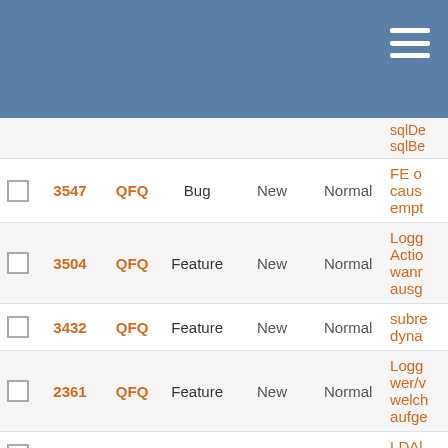|  | # | Project | Tracker | Status | Priority | Subject |
| --- | --- | --- | --- | --- | --- | --- |
|  |  |  |  |  |  | sqlDe sqlBe |
| ☐ | 3547 | QFQ | Bug | New | Normal | FE o caus empt |
| ☐ | 3504 | QFQ | Feature | New | Normal | Logg Actio wanr ausg |
| ☐ | 3432 | QFQ | Feature | New | Normal | subre dyna |
| ☐ | 2361 | QFQ | Feature | New | Normal | Logg wer/v welch aufge |
| ☐ | 14371 | QFQ | Feature | Priorize | Normal | LDAl REP( |
| ☐ | 14290 | QFQ | Feature | Priorize | Normal | Form Table |
| ☐ | 14283 | QFQ | Bug | Priorize | Normal | HEIC conv trigge |